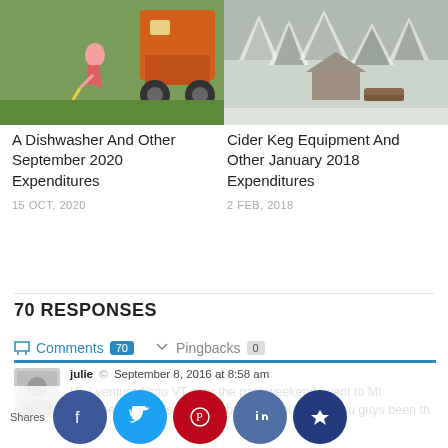[Figure (photo): Person bending over near an orange tractor on grass]
[Figure (photo): Snow-covered trees and a small cabin in winter landscape]
A Dishwasher And Other September 2020 Expenditures
15 OCT, 2020
Cider Keg Equipment And Other January 2018 Expenditures
2 FEB, 2018
70 RESPONSES
Comments 70   Pingbacks 0
julie  ©  September 8, 2016 at 8:58 am
Hi, I ventured into VT over the past weekend (went to Mt Ascutney in Windsor) and thought of you! Have you guys been th... ? You ...st of t...up, so...d the b... ea...dog a...hort leg...it, and...v lots o...